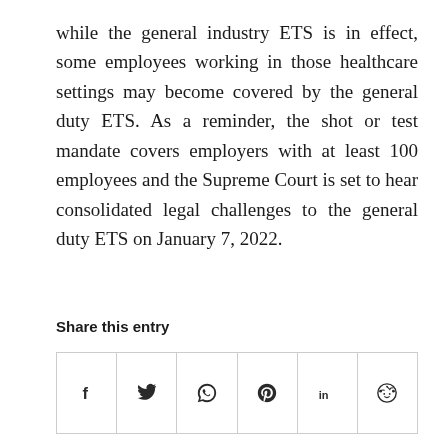while the general industry ETS is in effect, some employees working in those healthcare settings may become covered by the general duty ETS. As a reminder, the shot or test mandate covers employers with at least 100 employees and the Supreme Court is set to hear consolidated legal challenges to the general duty ETS on January 7, 2022.
Share this entry
[Figure (infographic): Social share buttons row with icons for Facebook (f), Twitter (bird), WhatsApp (phone), Pinterest (P), LinkedIn (in), and Reddit (alien face)]